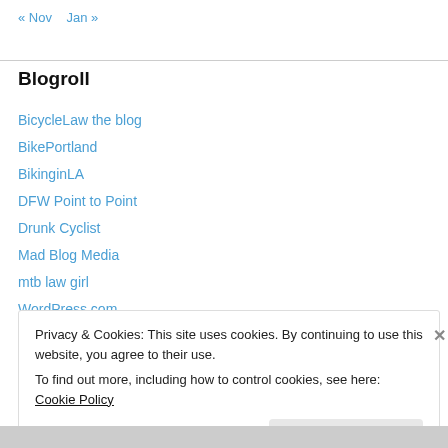« Nov   Jan »
Blogroll
BicycleLaw the blog
BikePortland
BikinginLA
DFW Point to Point
Drunk Cyclist
Mad Blog Media
mtb law girl
WordPress.com
Privacy & Cookies: This site uses cookies. By continuing to use this website, you agree to their use.
To find out more, including how to control cookies, see here: Cookie Policy
Close and accept